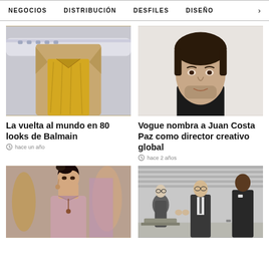NEGOCIOS  DISTRIBUCIÓN  DESFILES  DISEÑO  >
[Figure (photo): Fashion photo showing gold/metallic outfit with beige coat, airplane in background]
La vuelta al mundo en 80 looks de Balmain
hace un año
[Figure (photo): Portrait photo of Juan Costa Paz, man with dark hair and beard]
Vogue nombra a Juan Costa Paz como director creativo global
hace 2 años
[Figure (photo): Fashion runway photo showing female model in pink/mauve dress with floral headpiece]
[Figure (photo): Black and white photo of three people in suits standing in what appears to be an office or meeting room]